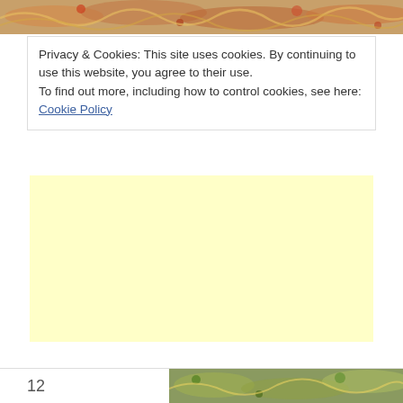[Figure (photo): Top strip showing food photo — pasta or noodle dish with colorful toppings]
Privacy & Cookies: This site uses cookies. By continuing to use this website, you agree to their use.
To find out more, including how to control cookies, see here: Cookie Policy
[Figure (other): Yellow advertisement placeholder box]
Close and accept
12
[Figure (photo): Bottom strip showing food photo — pasta dish with green herbs]